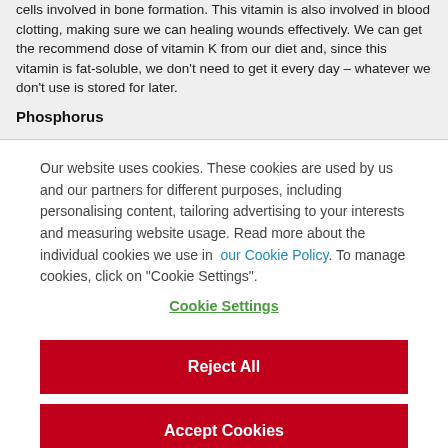cells involved in bone formation. This vitamin is also involved in blood clotting, making sure we can healing wounds effectively. We can get the recommend dose of vitamin K from our diet and, since this vitamin is fat-soluble, we don't need to get it every day – whatever we don't use is stored for later.
Phosphorus
Our website uses cookies. These cookies are used by us and our partners for different purposes, including personalising content, tailoring advertising to your interests and measuring website usage. Read more about the individual cookies we use in our Cookie Policy. To manage cookies, click on "Cookie Settings".
Cookie Settings
Reject All
Accept Cookies